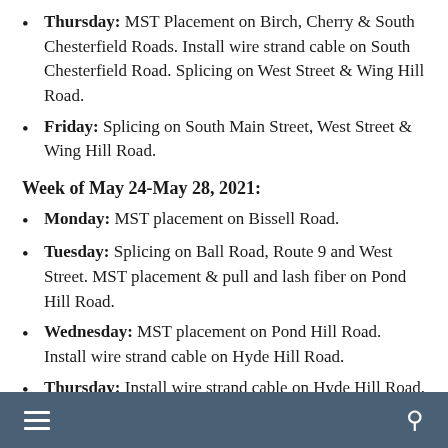Thursday: MST Placement on Birch, Cherry & South Chesterfield Roads.  Install wire strand cable on South Chesterfield Road.  Splicing on West Street & Wing Hill Road.
Friday: Splicing on South Main Street, West Street & Wing Hill Road.
Week of May 24-May 28, 2021:
Monday: MST placement on Bissell Road.
Tuesday: Splicing on Ball Road, Route 9 and West Street.  MST placement & pull and lash fiber on Pond Hill Road.
Wednesday: MST placement on Pond Hill Road.  Install wire strand cable on Hyde Hill Road.
Thursday: Install wire strand cable on Hyde Hill Road, Washington Road & Pine Road.  MST Placement on
≡  🔍